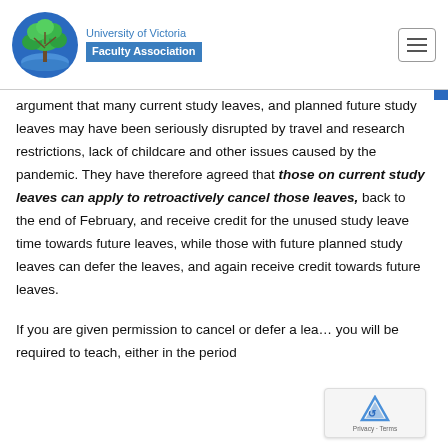University of Victoria Faculty Association
argument that many current study leaves, and planned future study leaves may have been seriously disrupted by travel and research restrictions, lack of childcare and other issues caused by the pandemic. They have therefore agreed that those on current study leaves can apply to retroactively cancel those leaves, back to the end of February, and receive credit for the unused study leave time towards future leaves, while those with future planned study leaves can defer the leaves, and again receive credit towards future leaves.
If you are given permission to cancel or defer a lea you will be required to teach, either in the period